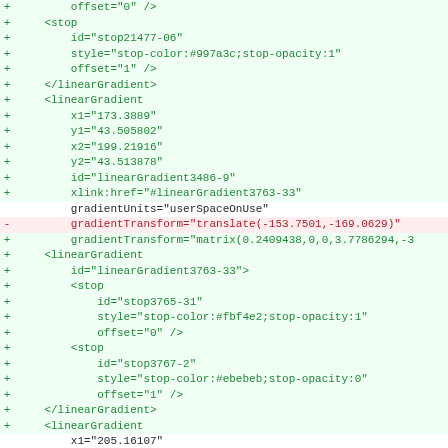Diff view of SVG linearGradient XML code showing additions and removals
+ offset="0" />
+ <stop
+     id="stop21477-06"
+     style="stop-color:#997a3c;stop-opacity:1"
+     offset="1" />
+ </linearGradient>
+ <linearGradient
+     x1="173.3889"
+     y1="43.505802"
+     x2="199.21916"
+     y2="43.513878"
+     id="linearGradient3486-9"
+     xlink:href="#linearGradient3763-33"
gradientUnits="userSpaceOnUse"
-     gradientTransform="translate(-153.7501,-169.0629)"
+     gradientTransform="matrix(0.2409438,0,0,3.7786294,-3
+ <linearGradient
+     id="linearGradient3763-33">
+     <stop
+         id="stop3765-31"
+         style="stop-color:#fbf4e2;stop-opacity:1"
+         offset="0" />
+     <stop
+         id="stop3767-2"
+         style="stop-color:#ebebeb;stop-opacity:0"
+         offset="1" />
+ </linearGradient>
+ <linearGradient
x1="205.16107"
y1="31.54714"
x2="205.16107"
-     y2="40.542397" />
+     y2="40.154705"